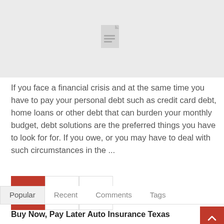[Figure (other): Gray placeholder image with a document/file icon centered on it]
If you face a financial crisis and at the same time you have to pay your personal debt such as credit card debt, home loans or other debt that can burden your monthly budget, debt solutions are the preferred things you have to look for for. If you owe, or you may have to deal with such circumstances in the ...
1
2
>
Popular   Recent   Comments   Tags
Buy Now, Pay Later Auto Insurance Texas